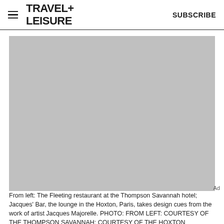TRAVEL+LEISURE   SUBSCRIBE
[Figure (photo): Large placeholder image (gray rectangle) showing a composite of The Fleeting restaurant at the Thompson Savannah hotel and Jacques' Bar lounge at the Hoxton, Paris]
From left: The Fleeting restaurant at the Thompson Savannah hotel; Jacques' Bar, the lounge in the Hoxton, Paris, takes design cues from the work of artist Jacques Majorelle. PHOTO: FROM LEFT: COURTESY OF THE THOMPSON SAVANNAH; COURTESY OF THE HOXTON